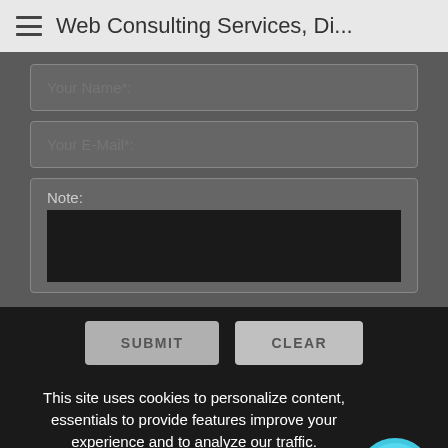≡ Web Consulting Services, Di...
Your Name*:
Your E-Mail*:
Note:
SUBMIT
CLEAR
This site uses cookies to personalize content, essentials to provide features improve your experience and to analyze our traffic.
Details
Accept
[Figure (illustration): Chat bubble icon with @ symbol in cyan/blue color]